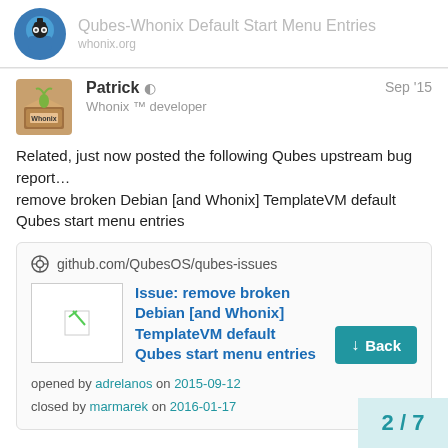Qubes-Whonix Default Start Menu Entries
Patrick ◐
Whonix ™ developer
Sep '15
Related, just now posted the following Qubes upstream bug report…
remove broken Debian [and Whonix] TemplateVM default Qubes start menu entries
[Figure (screenshot): Embedded link card from github.com/QubesOS/qubes-issues showing issue: remove broken Debian [and Whonix] TemplateVM default Qubes start menu entries, opened by adrelanos on 2015-09-12, closed by marmarek on 2016-01-17]
2 / 7